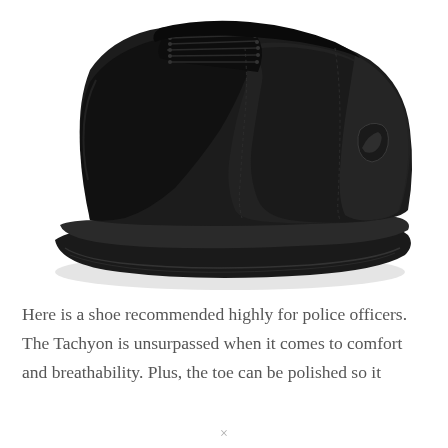[Figure (photo): A black Danner Tachyon tactical/duty shoe photographed against a white background. The shoe is a mid-cut lace-up style with a smooth leather toe cap, nylon upper, and a thick rubber outsole. The Danner logo is visible on the heel panel.]
Here is a shoe recommended highly for police officers. The Tachyon is unsurpassed when it comes to comfort and breathability. Plus, the toe can be polished so it
×